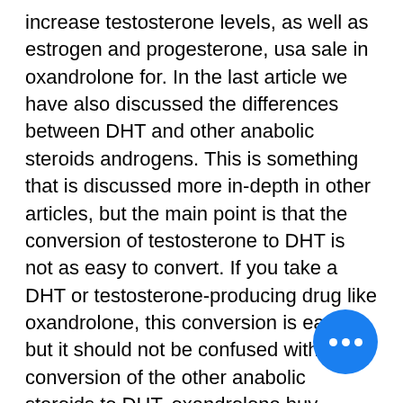increase testosterone levels, as well as estrogen and progesterone, usa sale in oxandrolone for. In the last article we have also discussed the differences between DHT and other anabolic steroids androgens. This is something that is discussed more in-depth in other articles, but the main point is that the conversion of testosterone to DHT is not as easy to convert. If you take a DHT or testosterone-producing drug like oxandrolone, this conversion is easy, but it should not be confused with the conversion of the other anabolic steroids to DHT, oxandrolone buy online. As an anabolic steroid user you should not need to take any additional drugs that increase androgen production, other than those that do not have anabolic effects, oxandrolone for sale in usa. There are a few other drugs known to increase orrogen production but oxandrolone does not have strong anabolic effects when